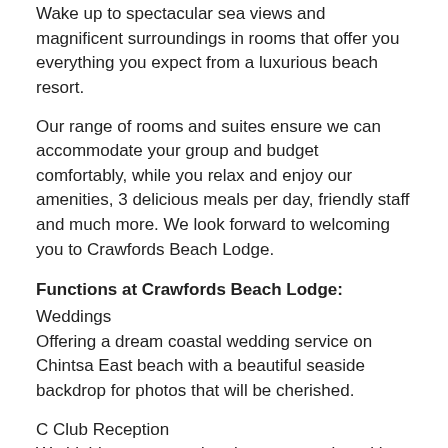Wake up to spectacular sea views and magnificent surroundings in rooms that offer you everything you expect from a luxurious beach resort.
Our range of rooms and suites ensure we can accommodate your group and budget comfortably, while you relax and enjoy our amenities, 3 delicious meals per day, friendly staff and much more. We look forward to welcoming you to Crawfords Beach Lodge.
Functions at Crawfords Beach Lodge:
Weddings
Offering a dream coastal wedding service on Chintsa East beach with a beautiful seaside backdrop for photos that will be cherished.
C Club Reception
We highly recommend paring your service with a garden wedding reception at the C Club venue. A perfect venue for receptions, lunch and wedding receptions. The...